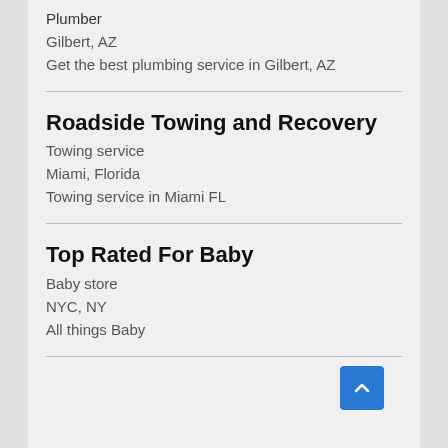Plumber
Gilbert, AZ
Get the best plumbing service in Gilbert, AZ
Roadside Towing and Recovery
Towing service
Miami, Florida
Towing service in Miami FL
Top Rated For Baby
Baby store
NYC, NY
All things Baby